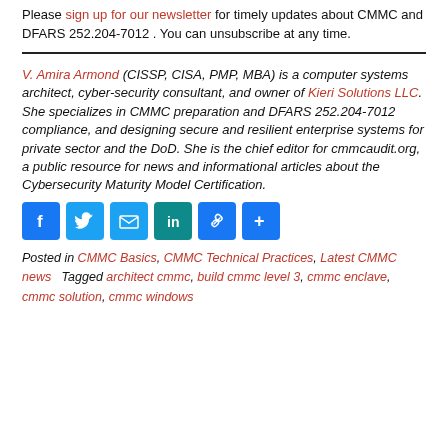Please sign up for our newsletter for timely updates about CMMC and DFARS 252.204-7012 . You can unsubscribe at any time.
V. Amira Armond (CISSP, CISA, PMP, MBA) is a computer systems architect, cyber-security consultant, and owner of Kieri Solutions LLC. She specializes in CMMC preparation and DFARS 252.204-7012 compliance, and designing secure and resilient enterprise systems for private sector and the DoD. She is the chief editor for cmmcaudit.org, a public resource for news and informational articles about the Cybersecurity Maturity Model Certification.
[Figure (infographic): Social media sharing icons: Facebook, Twitter, Email, LinkedIn, Copy link, Share More]
Posted in CMMC Basics, CMMC Technical Practices, Latest CMMC news   Tagged architect cmmc, build cmmc level 3, cmmc enclave, cmmc solution, cmmc windows